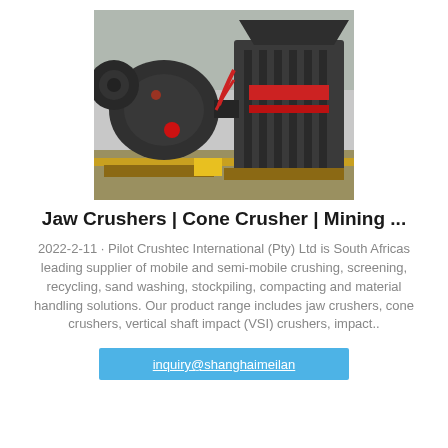[Figure (photo): Industrial jaw crusher / impact crusher machinery in a factory setting. Dark grey heavy equipment on pallets, with red accent components and mechanical details visible.]
Jaw Crushers | Cone Crusher | Mining ...
2022-2-11 · Pilot Crushtec International (Pty) Ltd is South Africas leading supplier of mobile and semi-mobile crushing, screening, recycling, sand washing, stockpiling, compacting and material handling solutions. Our product range includes jaw crushers, cone crushers, vertical shaft impact (VSI) crushers, impact..
inquiry@shanghaimeilan